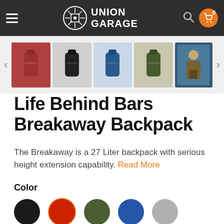Union Garage — Navigation bar with logo, search, and cart (0 items)
[Figure (screenshot): Product thumbnail image carousel with 5 backpack color variants and a lifestyle photo, with left and right navigation arrows]
Life Behind Bars Breakaway Backpack
The Breakaway is a 27 Liter backpack with serious height extension capability. Read More
Color
[Figure (illustration): Five color swatches: black, red/orange, olive green, blue, gray]